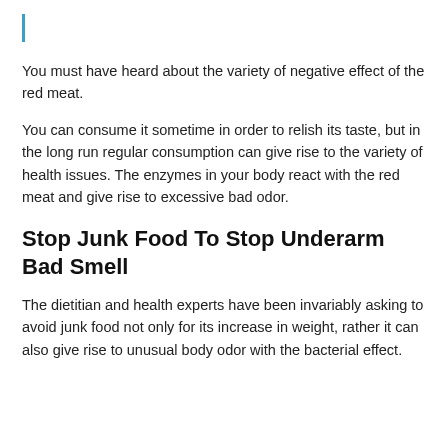You must have heard about the variety of negative effect of the red meat.
You can consume it sometime in order to relish its taste, but in the long run regular consumption can give rise to the variety of health issues. The enzymes in your body react with the red meat and give rise to excessive bad odor.
Stop Junk Food To Stop Underarm Bad Smell
The dietitian and health experts have been invariably asking to avoid junk food not only for its increase in weight, rather it can also give rise to unusual body odor with the bacterial effect.